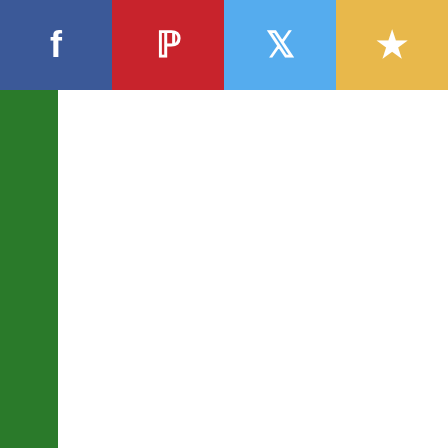[Figure (infographic): Social sharing bar with Facebook (blue), Pinterest (red), Twitter (light blue), and star/bookmark (yellow) buttons]
[Figure (photo): Green vertical bar on left side of page]
Rudy Gobert: Big Head - Officially Licensed NBA Foam Core Cutout 24" x 36" Cutout by Fathead
Licensed NBA Foam Core Cutout 24" x 36" Cutout by Fathead. Utah Jazz | Features Portable cutout Printed on high density foam core Sturdy and big enough to stand out in any crowd Details
$32.9
More Info
Buy N